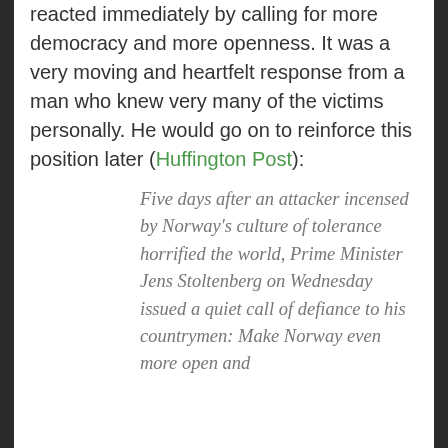reacted immediately by calling for more democracy and more openness. It was a very moving and heartfelt response from a man who knew very many of the victims personally. He would go on to reinforce this position later (Huffington Post):
Five days after an attacker incensed by Norway's culture of tolerance horrified the world, Prime Minister Jens Stoltenberg on Wednesday issued a quiet call of defiance to his countrymen: Make Norway even more open and